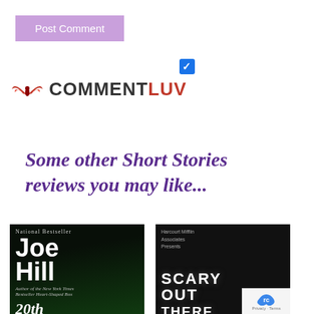[Figure (screenshot): Purple/lavender 'Post Comment' button]
[Figure (screenshot): Blue checkbox with white checkmark]
[Figure (logo): CommentLuv logo with red wings icon and text COMMENT in dark and LUV in red]
Some other Short Stories reviews you may like...
[Figure (photo): Book cover: Joe Hill, National Bestseller, 20th Century Ghosts, with green insect image]
[Figure (photo): Book cover: Scary Out There, dark background with person covering face with hands]